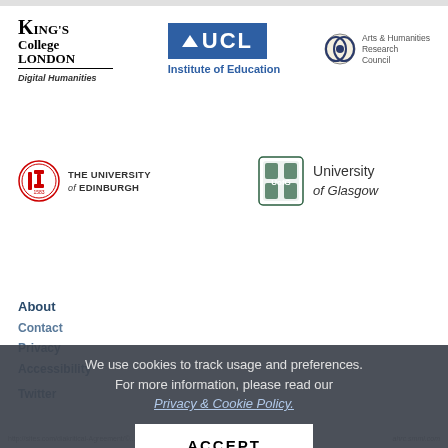[Figure (logo): King's College London Digital Humanities logo]
[Figure (logo): UCL Institute of Education logo]
[Figure (logo): Arts & Humanities Research Council logo]
[Figure (logo): The University of Edinburgh logo]
[Figure (logo): University of Glasgow logo]
About
Contact
Privacy
Accessibility
Twitter
We use cookies to track usage and preferences. For more information, please read our Privacy & Cookie Policy.
ACCEPT